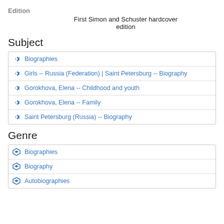Edition
First Simon and Schuster hardcover edition
Subject
Biographies
Girls -- Russia (Federation) | Saint Petersburg -- Biography
Gorokhova, Elena -- Childhood and youth
Gorokhova, Elena -- Family
Saint Petersburg (Russia) -- Biography
Genre
Biographies
Biography
Autobiographies